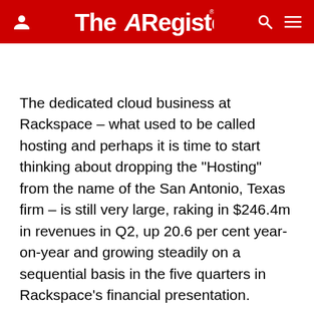The Register
The dedicated cloud business at Rackspace – what used to be called hosting and perhaps it is time to start thinking about dropping the "Hosting" from the name of the San Antonio, Texas firm – is still very large, raking in $246.4m in revenues in Q2, up 20.6 per cent year-on-year and growing steadily on a sequential basis in the five quarters in Rackspace's financial presentation.
Public cloud revenues, which includes both compute and storage services sold under utility pricing as well as load balancing services across cloudy